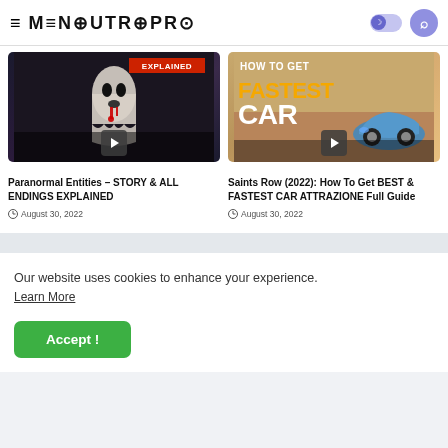MENSUTROPRO
[Figure (screenshot): Thumbnail for Paranormal Entities horror game video with ghost figure and EXPLAINED badge]
Paranormal Entities – STORY & ALL ENDINGS EXPLAINED
August 30, 2022
[Figure (screenshot): Thumbnail for Saints Row 2022 fastest car guide with sport car image and HOW TO GET FASTEST CAR text]
Saints Row (2022): How To Get BEST & FASTEST CAR ATTRAZIONE Full Guide
August 30, 2022
Our website uses cookies to enhance your experience. Learn More
Accept !